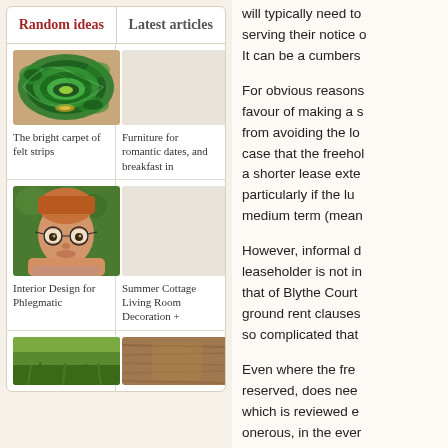Random ideas
Latest articles
[Figure (photo): Green swirling malachite or felt pattern texture]
The bright carpet of felt strips
[Figure (photo): Blank/empty article image placeholder]
Furniture for romantic dates, and breakfast in
[Figure (photo): Young child with round glasses resting chin on hands, looking at camera]
Interior Design for Phlegmatic
[Figure (photo): Blank/empty article image placeholder]
Summer Cottage Living Room Decoration +
[Figure (photo): Partial green/grass image, bottom row left]
[Figure (photo): Partial wooden/brown texture image, bottom row right]
will typically need to serving their notice o It can be a cumbers
For obvious reasons favour of making a s from avoiding the lo case that the freehol a shorter lease exte particularly if the lu medium term (mean
However, informal d leaseholder is not in that of Blythe Court ground rent clauses so complicated that
Even where the fre reserved, does nee which is reviewed e onerous, in the ever the future.